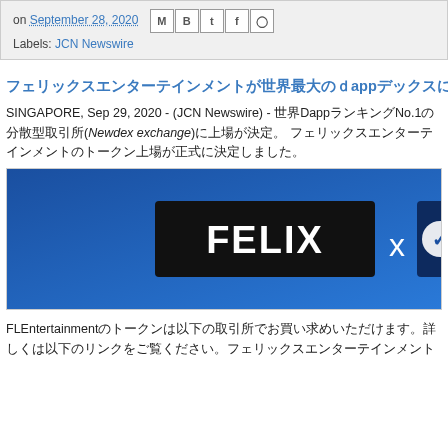on September 28, 2020  [social icons: M, B, t, f, p]  Labels: JCN Newswire
フェリックスエンターテインメントが世界最大のdappデックスに10月上場！Newdexに正式上場決定
SINGAPORE, Sep 29, 2020 - (JCN Newswire) - 世界DappランキングNo.1の分散型取引所(Newdex exchange)に上場が決定。 フェリックスエンターテインメントのトークン上場が正式に決定しました。
[Figure (photo): Banner image showing FELIX x Newdex logos on a blue gradient background]
FLEntertainmentのトークンは以下の取引所でお買い求めいただけます。詳しくは以下のリンクをご覧ください。フェリックスエンターテインメント